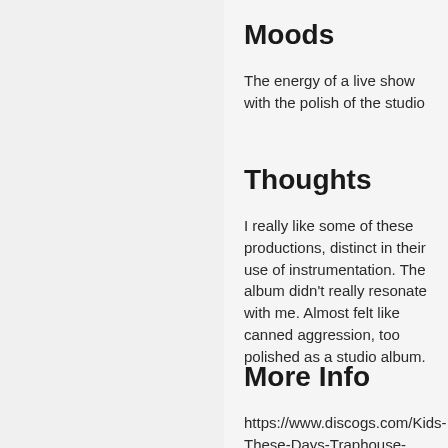Moods
The energy of a live show with the polish of the studio
Thoughts
I really like some of these productions, distinct in their use of instrumentation. The album didn't really resonate with me. Almost felt like canned aggression, too polished as a studio album.
More Info
https://www.discogs.com/Kids-These-Days-Traphouse-Rock/release/4536212